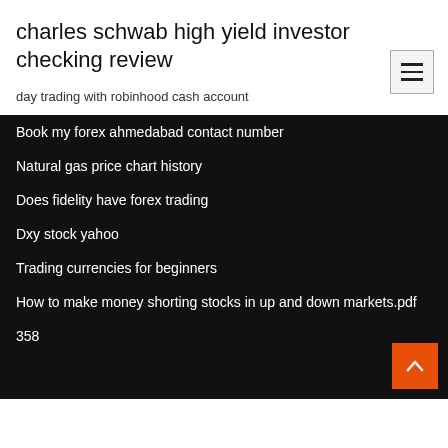charles schwab high yield investor checking review
day trading with robinhood cash account
Book my forex ahmedabad contact number
Natural gas price chart history
Does fidelity have forex trading
Dxy stock yahoo
Trading currencies for beginners
How to make money shorting stocks in up and down markets.pdf
358